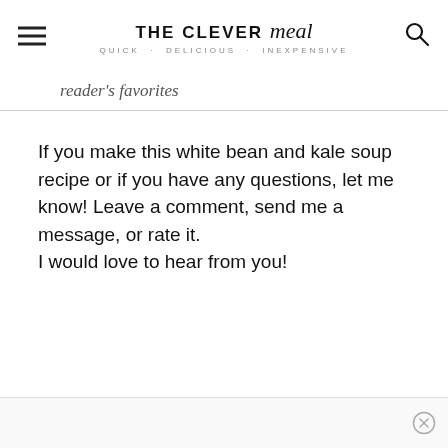THE CLEVER meal — QUICK · DELICIOUS · INEXPENSIVE
reader's favorites
If you make this white bean and kale soup recipe or if you have any questions, let me know! Leave a comment, send me a message, or rate it.
I would love to hear from you!